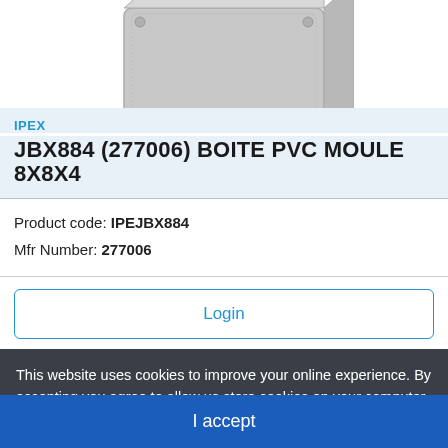[Figure (photo): Gray PVC junction box product photo, partially cropped at top]
IPEX
JBX884 (277006) BOITE PVC MOULE 8X8X4
Product code: IPEJBX884
Mfr Number: 277006
Login
This website uses cookies to improve your online experience. By accepting you agree to allow us store cookies on your computer. Learn More
I accept